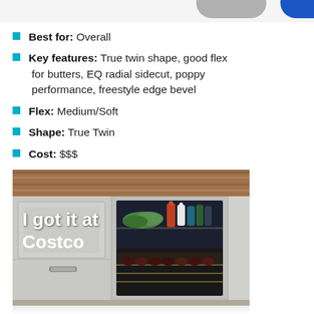[Figure (other): Partial top strip showing two rounded button shapes (grey and blue) cropped at top of page]
Best for: Overall
Key features: True twin shape, good flex for butters, EQ radial sidecut, poppy performance, freestyle edge bevel
Flex: Medium/Soft
Shape: True Twin
Cost: $$$
[Figure (photo): Photo of a built-in under-counter refrigerator/beverage center with glass door showing bottles and produce, set into kitchen cabinetry with wood countertop. White overlay text reads 'I got it at Costco']